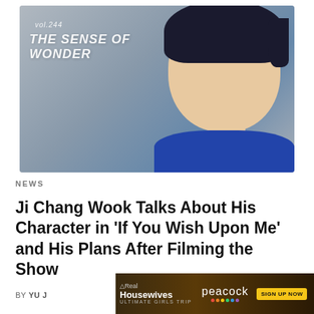[Figure (photo): Photo of Ji Chang Wook, a young Korean actor with dark hair, looking upward, wearing a blue sweater. Overlay text reads 'vol.244 THE SENSE OF WONDER' in italic white font on a light grey background.]
NEWS
Ji Chang Wook Talks About His Character in 'If You Wish Upon Me' and His Plans After Filming the Show
BY YU J
[Figure (screenshot): Advertisement banner for 'The Real Housewives Ultimate Girls Trip' on Peacock with 'SIGN UP NOW' button, with play and close controls.]